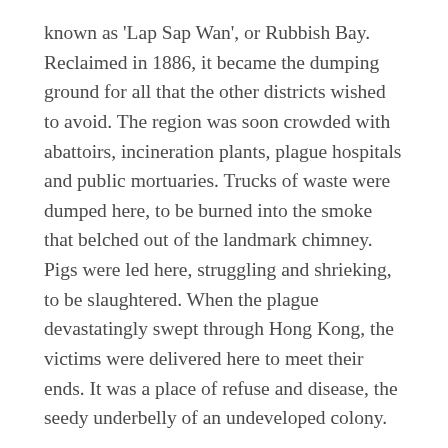known as 'Lap Sap Wan', or Rubbish Bay. Reclaimed in 1886, it became the dumping ground for all that the other districts wished to avoid. The region was soon crowded with abattoirs, incineration plants, plague hospitals and public mortuaries. Trucks of waste were dumped here, to be burned into the smoke that belched out of the landmark chimney. Pigs were led here, struggling and shrieking, to be slaughtered. When the plague devastatingly swept through Hong Kong, the victims were delivered here to meet their ends. It was a place of refuse and disease, the seedy underbelly of an undeveloped colony.
Nevertheless, people made their home here. The name of the district was changed from Lap Sap Wan to Kennedy Town, in honour of the seventh